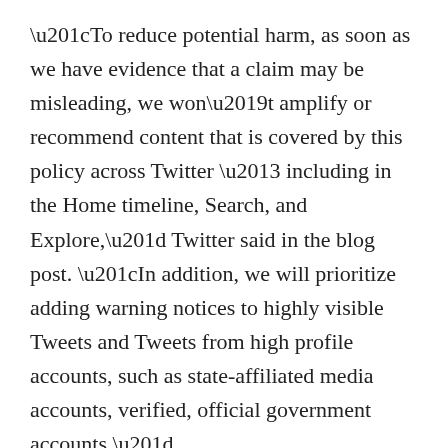“To reduce potential harm, as soon as we have evidence that a claim may be misleading, we won’t amplify or recommend content that is covered by this policy across Twitter – including in the Home timeline, Search, and Explore,” Twitter said in the blog post. “In addition, we will prioritize adding warning notices to highly visible Tweets and Tweets from high profile accounts, such as state-affiliated media accounts, verified, official government accounts.”
Tweets could receive a warning notice if they include false reporting that “mischaracterizes conditions” of evolving ground conflicts and “false